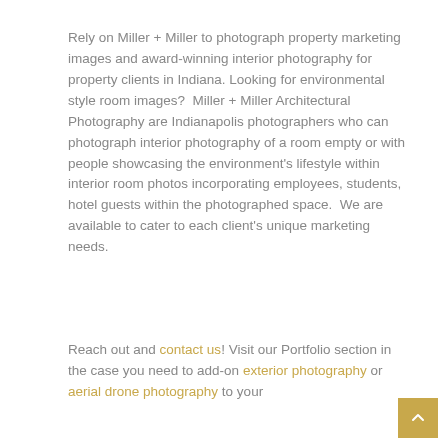Rely on Miller + Miller to photograph property marketing images and award-winning interior photography for property clients in Indiana. Looking for environmental style room images?  Miller + Miller Architectural Photography are Indianapolis photographers who can photograph interior photography of a room empty or with people showcasing the environment's lifestyle within interior room photos incorporating employees, students, hotel guests within the photographed space.  We are available to cater to each client's unique marketing needs.
Reach out and contact us! Visit our Portfolio section in the case you need to add-on exterior photography or aerial drone photography to your